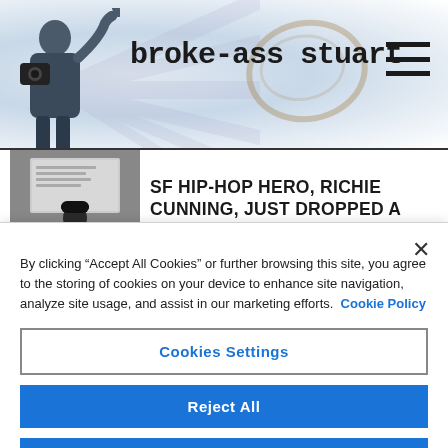broke-ass stuart
[Figure (photo): Screenshot of broke-ass stuart website header with a person making a gesture, coffee stain graphic, and hamburger menu icon]
SF HIP-HOP HERO, RICHIE CUNNING, JUST DROPPED A BANGING NEW ALBUM
By clicking “Accept All Cookies” or further browsing this site, you agree to the storing of cookies on your device to enhance site navigation, analyze site usage, and assist in our marketing efforts. Cookie Policy
Cookies Settings
Reject All
Accept All Cookies